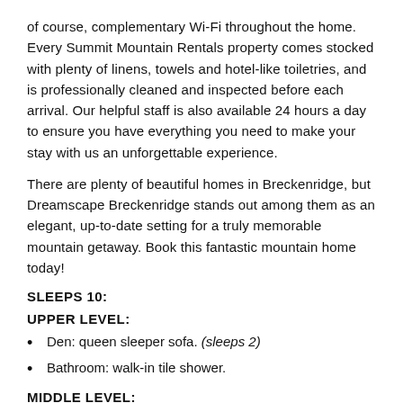of course, complementary Wi-Fi throughout the home. Every Summit Mountain Rentals property comes stocked with plenty of linens, towels and hotel-like toiletries, and is professionally cleaned and inspected before each arrival. Our helpful staff is also available 24 hours a day to ensure you have everything you need to make your stay with us an unforgettable experience.
There are plenty of beautiful homes in Breckenridge, but Dreamscape Breckenridge stands out among them as an elegant, up-to-date setting for a truly memorable mountain getaway. Book this fantastic mountain home today!
SLEEPS 10:
UPPER LEVEL:
Den: queen sleeper sofa. (sleeps 2)
Bathroom: walk-in tile shower.
MIDDLE LEVEL:
Bedroom 1: queen bed, bunk bed (two twins), private bathroom with walk-in tile shower, LCD TV, DVR. (sleeps 4)